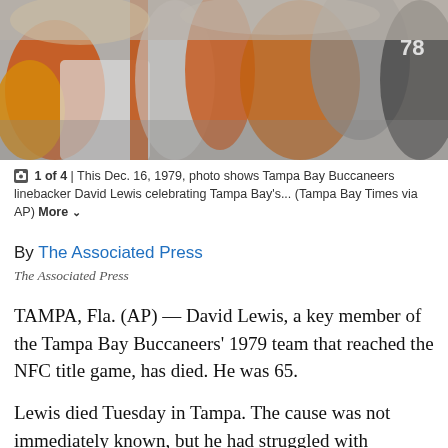[Figure (photo): Football players in orange and white Tampa Bay Buccaneers uniforms celebrating, crowd scene from Dec. 16, 1979]
1 of 4 | This Dec. 16, 1979, photo shows Tampa Bay Buccaneers linebacker David Lewis celebrating Tampa Bay's... (Tampa Bay Times via AP) More
By The Associated Press
The Associated Press
TAMPA, Fla. (AP) — David Lewis, a key member of the Tampa Bay Buccaneers' 1979 team that reached the NFC title game, has died. He was 65.
Lewis died Tuesday in Tampa. The cause was not immediately known, but he had struggled with